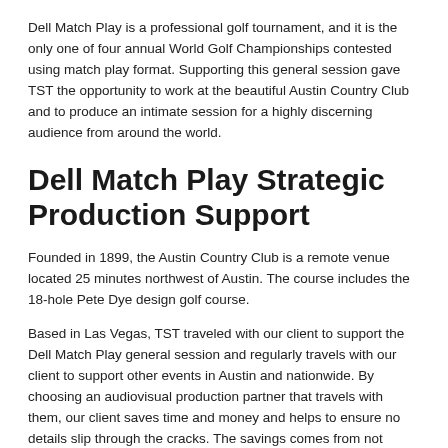Dell Match Play is a professional golf tournament, and it is the only one of four annual World Golf Championships contested using match play format. Supporting this general session gave TST the opportunity to work at the beautiful Austin Country Club and to produce an intimate session for a highly discerning audience from around the world.
Dell Match Play Strategic Production Support
Founded in 1899, the Austin Country Club is a remote venue located 25 minutes northwest of Austin. The course includes the 18-hole Pete Dye design golf course.
Based in Las Vegas, TST traveled with our client to support the Dell Match Play general session and regularly travels with our client to support other events in Austin and nationwide. By choosing an audiovisual production partner that travels with them, our client saves time and money and helps to ensure no details slip through the cracks. The savings comes from not having to start from scratch with every show. We ship small,